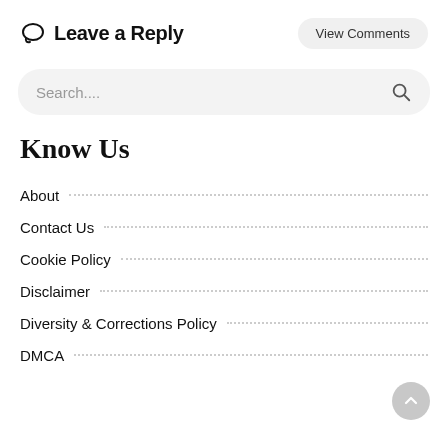Leave a Reply
View Comments
Search....
Know Us
About
Contact Us
Cookie Policy
Disclaimer
Diversity & Corrections Policy
DMCA